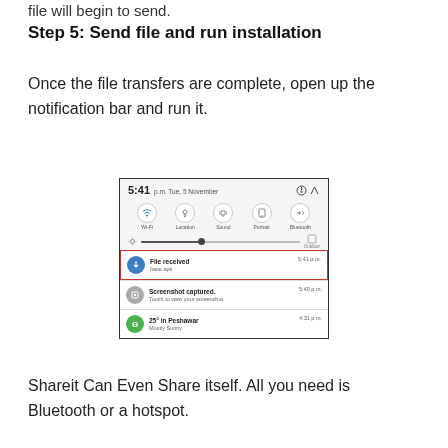file will begin to send.
Step 5: Send file and run installation
Once the file transfers are complete, open up the notification bar and run it.
[Figure (screenshot): Android notification panel showing time 5:41 p.m. Tue, 5 November, quick settings icons (Wi-Fi, Location, Sound, Portrait, Bluetooth), brightness slider, and notifications including 'File received - base.apk' highlighted in red, 'Screenshot captured. Touch to view your screenshot.', and '25° in Peshawar - Mostly Sunny'.]
Shareit Can Even Share itself. All you need is Bluetooth or a hotspot.